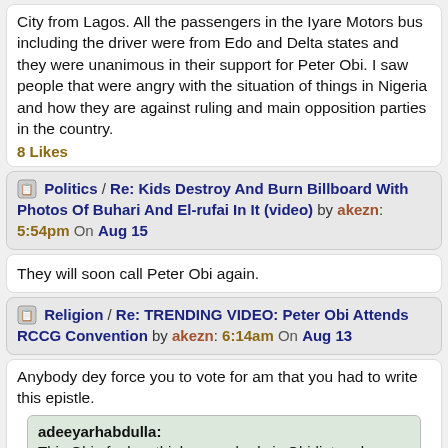City from Lagos. All the passengers in the Iyare Motors bus including the driver were from Edo and Delta states and they were unanimous in their support for Peter Obi. I saw people that were angry with the situation of things in Nigeria and how they are against ruling and main opposition parties in the country.
8 Likes
Politics / Re: Kids Destroy And Burn Billboard With Photos Of Buhari And El-rufai In It (video) by akezn: 5:54pm On Aug 15
They will soon call Peter Obi again.
Religion / Re: TRENDING VIDEO: Peter Obi Attends RCCG Convention by akezn: 6:14am On Aug 13
Anybody dey force you to vote for am that you had to write this epistle.
adeeyarhabdulla: This Obi of a boy thinks everybody is Obidiot and can